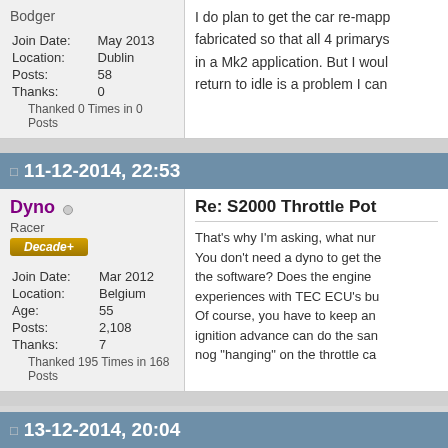Bodger
Join Date: May 2013
Location: Dublin
Posts: 58
Thanks: 0
Thanked 0 Times in 0 Posts
I do plan to get the car re-mapp fabricated so that all 4 primarys in a Mk2 application. But I woul return to idle is a problem I can
11-12-2014, 22:53
Dyno
Racer
Decade+
Join Date: Mar 2012
Location: Belgium
Age: 55
Posts: 2,108
Thanks: 7
Thanked 195 Times in 168 Posts
Re: S2000 Throttle Pot
That's why I'm asking, what nur You don't need a dyno to get the the software? Does the engine experiences with TEC ECU's bu Of course, you have to keep an ignition advance can do the san nog "hanging" on the throttle ca
13-12-2014, 20:04